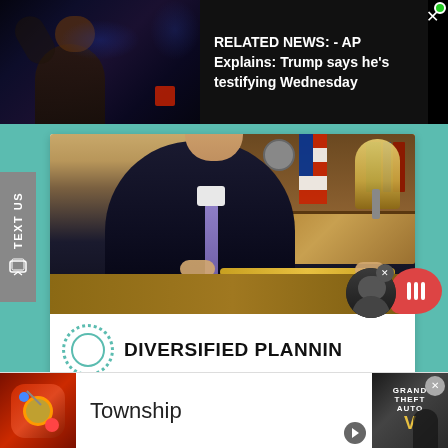[Figure (screenshot): Dark photo of a person in a dimly lit event space, top news banner overlay]
RELATED NEWS: - AP Explains: Trump says he's testifying Wednesday
[Figure (photo): Man in dark suit and purple tie seated at a desk in an office with American flag and bookshelf behind him]
[Figure (logo): Diversified Planning logo with teal circle and dotted border]
DIVERSIFIED PLANNING
[Figure (screenshot): Advertisement for Township mobile game with game icon and text]
Township
[Figure (screenshot): Grand Theft Auto game advertisement thumbnail on right side]